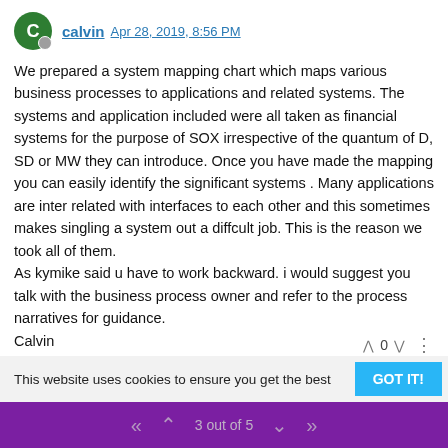calvin Apr 28, 2019, 8:56 PM
We prepared a system mapping chart which maps various business processes to applications and related systems. The systems and application included were all taken as financial systems for the purpose of SOX irrespective of the quantum of D, SD or MW they can introduce. Once you have made the mapping you can easily identify the significant systems . Many applications are inter related with interfaces to each other and this sometimes makes singling a system out a diffcult job. This is the reason we took all of them.
As kymike said u have to work backward. i would suggest you talk with the business process owner and refer to the process narratives for guidance.
Calvin
This website uses cookies to ensure you get the best
3 out of 5